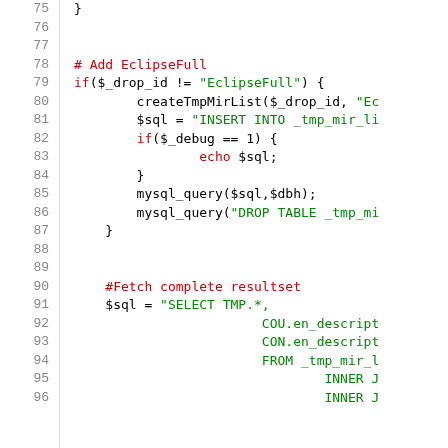[Figure (screenshot): PHP source code editor view showing lines 75-96 with syntax highlighting. Line numbers on the left in gray, comments in red, strings in green, keywords and default code in black.]